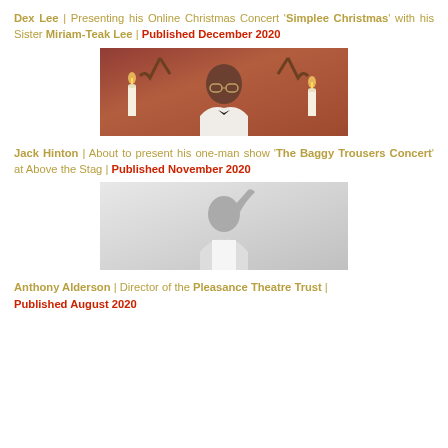Dex Lee | Presenting his Online Christmas Concert 'Simplee Christmas' with his Sister Miriam-Teak Lee | Published December 2020
[Figure (photo): A man in a white tuxedo jacket and bow tie, wearing round glasses, seated in front of a festive backdrop with candles and antlers]
Jack Hinton | About to present his one-man show 'The Baggy Trousers Concert' at Above the Stag | Published November 2020
[Figure (photo): Black and white photo of a young man with his arm raised above his head, looking at the camera, wearing a white t-shirt]
Anthony Alderson | Director of the Pleasance Theatre Trust | Published August 2020